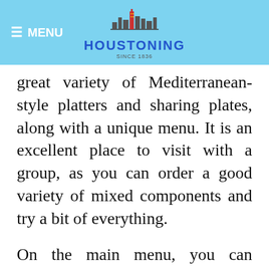≡ MENU | HOUSTONING
great variety of Mediterranean-style platters and sharing plates, along with a unique menu. It is an excellent place to visit with a group, as you can order a good variety of mixed components and try a bit of everything.
On the main menu, you can choose from a list of meats, which can come up as a wrap; these each cost between $7.99 and $8.99 (minus the lamb shank at $12.99). We thought there was a brilliant selection and found these prices very reasonable.
The “Rice and Hot Veggies” section of the